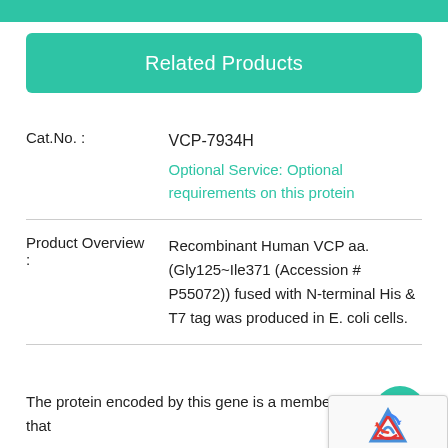Related Products
| Field | Value |
| --- | --- |
| Cat.No. : | VCP-7934H
Optional Service: Optional requirements on this protein |
| Product Overview : | Recombinant Human VCP aa. (Gly125~Ile371 (Accession # P55072)) fused with N-terminal His & T7 tag was produced in E. coli cells. |
The protein encoded by this gene is a member of a family that